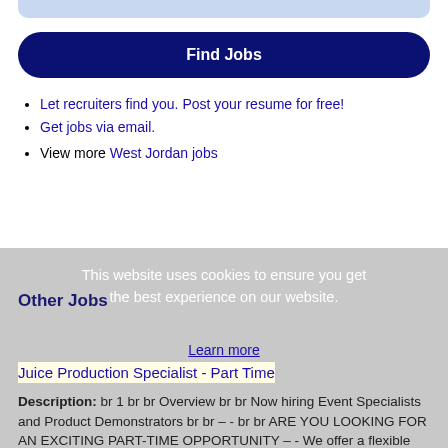[Figure (other): Light blue rounded bar at the top of the page, partial view]
Find Jobs
Let recruiters find you. Post your resume for free!
Get jobs via email.
View more West Jordan jobs
This website uses cookies to ensure you get the best experience on our website.
Learn more
Other Jobs
Juice Production Specialist - Part Time
Description: br 1 br br Overview br br Now hiring Event Specialists and Product Demonstrators br br – - br br ARE YOU LOOKING FOR AN EXCITING PART-TIME OPPORTUNITY – - We offer a flexible (more...)